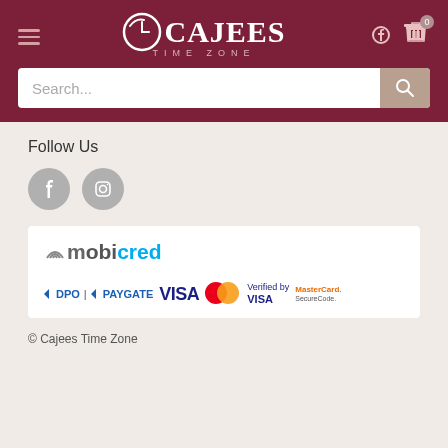[Figure (logo): Cajees Time Zone logo with clock icon and site name on dark red header background]
[Figure (screenshot): Search bar with placeholder text 'Search...' and search button]
Follow Us
[Figure (illustration): Facebook and Instagram social media icons as grey circles]
[Figure (logo): mobicred payment option logo]
[Figure (logo): DPO | PAYGATE, VISA, Mastercard, Verified by VISA, MasterCard SecureCode payment logos]
© Cajees Time Zone